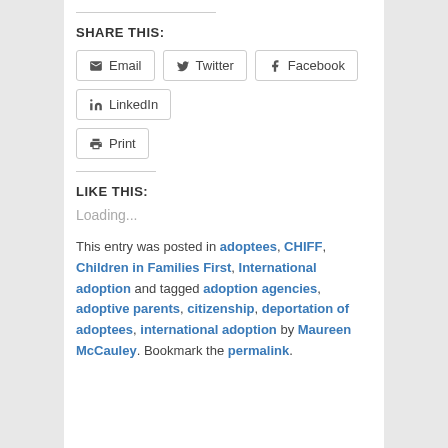SHARE THIS:
Email  Twitter  Facebook  LinkedIn  Print
LIKE THIS:
Loading...
This entry was posted in adoptees, CHIFF, Children in Families First, International adoption and tagged adoption agencies, adoptive parents, citizenship, deportation of adoptees, international adoption by Maureen McCauley. Bookmark the permalink.